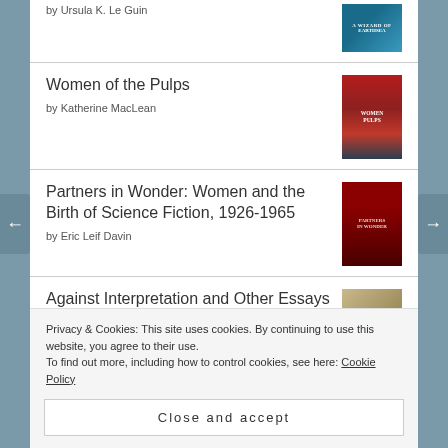by Ursula K. Le Guin
Women of the Pulps
by Katherine MacLean
Partners in Wonder: Women and the Birth of Science Fiction, 1926-1965
by Eric Leif Davin
Against Interpretation and Other Essays
by Susan Sontag
Privacy & Cookies: This site uses cookies. By continuing to use this website, you agree to their use.
To find out more, including how to control cookies, see here: Cookie Policy
Close and accept